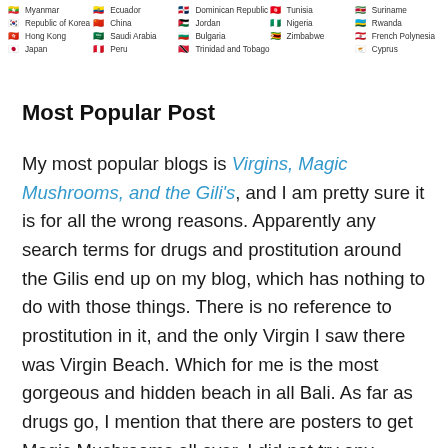[Figure (other): Partial list of country flags with country names arranged in columns, showing Myanmar, Republic of Korea, Hong Kong, Japan, Ecuador, China, Saudi Arabia, Peru, Dominican Republic, Jordan, Bulgaria, Trinidad and Tobago, Tunisia, Nigeria, Zimbabwe, Suriname, Rwanda, French Polynesia, Cyprus]
Most Popular Post
My most popular blogs is Virgins, Magic Mushrooms, and the Gili's, and I am pretty sure it is for all the wrong reasons. Apparently any search terms for drugs and prostitution around the Gilis end up on my blog, which has nothing to do with those things. There is no reference to prostitution in it, and the only Virgin I saw there was Virgin Beach. Which for me is the most gorgeous and hidden beach in all Bali. As far as drugs go, I mention that there are posters to get Magic Mushrooms all over. I did not try any myself, regretfuly. Just the mere mention of drugs and sex brings people in. Of the thousands of people who stopped in looking for such nephareous activities, many have stayed on to learn and enjoy about